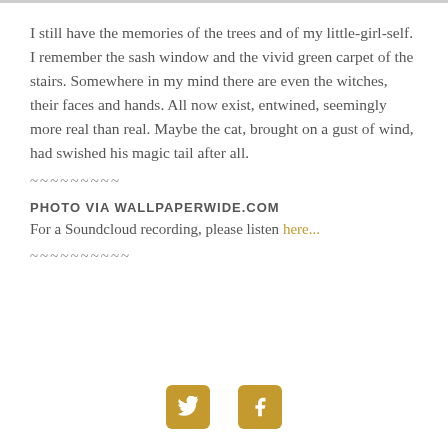I still have the memories of the trees and of my little-girl-self. I remember the sash window and the vivid green carpet of the stairs. Somewhere in my mind there are even the witches, their faces and hands. All now exist, entwined, seemingly more real than real. Maybe the cat, brought on a gust of wind, had swished his magic tail after all.
~~~~~~~~~
PHOTO VIA WALLPAPERWIDE.COM
For a Soundcloud recording, please listen here...
~~~~~~~~~~
[Figure (other): Twitter and Facebook social share buttons (gold/tan rounded square icons)]